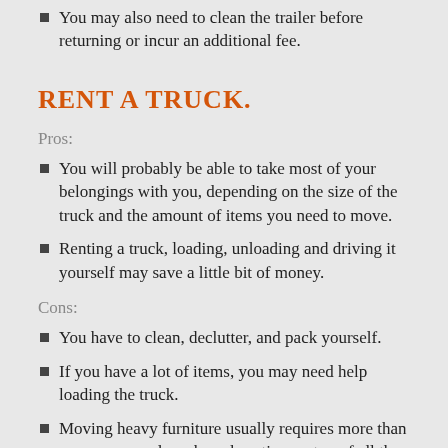You may also need to clean the trailer before returning or incur an additional fee.
RENT A TRUCK.
Pros:
You will probably be able to take most of your belongings with you, depending on the size of the truck and the amount of items you need to move.
Renting a truck, loading, unloading and driving it yourself may save a little bit of money.
Cons:
You have to clean, declutter, and pack yourself.
If you have a lot of items, you may need help loading the truck.
Moving heavy furniture usually requires more than one person and can be exhausting on top of all the other work involved..
You may be unfamiliar with driving a larger truck